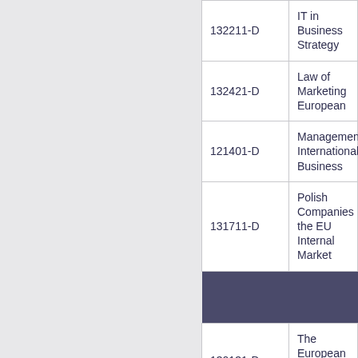| Code | Name |
| --- | --- |
| 132211-D | IT in Business Strategy |
| 132421-D | Law of Marketing European |
| 121401-D | Management International Business |
| 131711-D | Polish Companies the EU Internal Market |
|  |  |
| 130131-D | The European Union Budget |
| 110521-D | Theory of State |
| 222271-D | Transnational Corporation |